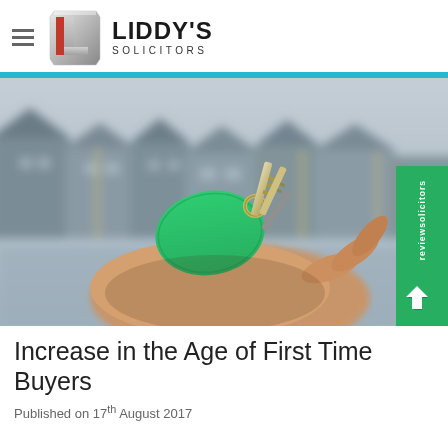LIDDY'S SOLICITORS
[Figure (photo): A hand outstretched holding house keys with a green key fob, with blurred residential buildings in the background]
Increase in the Age of First Time Buyers
Published on 17th August 2017